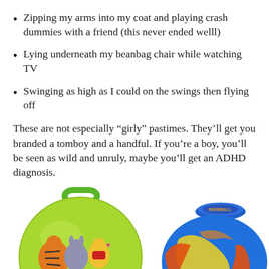Zipping my arms into my coat and playing crash dummies with a friend (this never ended welll)
Lying underneath my beanbag chair while watching TV
Swinging as high as I could on the swings then flying off
These are not especially “girly” pastimes. They’ll get you branded a tomboy and a handful. If you’re a boy, you’ll be seen as wild and unruly, maybe you’ll get an ADHD diagnosis.
[Figure (photo): Two toy bounce balls: a green Winnie the Pooh space hopper with characters (Tigger, Eeyore, Pooh) and text 'something Swingy, perhaps?' on the left, and a colorful blue/yellow/orange spinning/skipping ball toy on the right.]